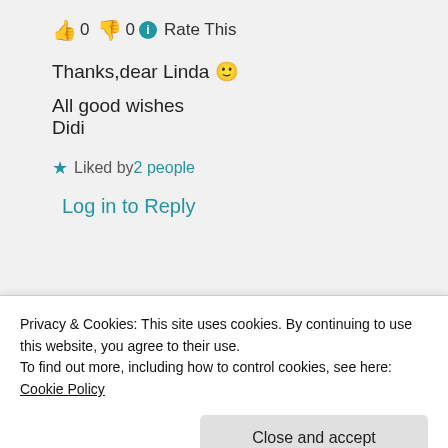👍 0 👎 0 ℹ Rate This
Thanks,dear Linda 🙂
All good wishes
Didi
★ Liked by 2 people
Log in to Reply
Advertisements
[Figure (screenshot): Dark banner with 'Opinions' text in white italic serif font and partial circular icons on the right]
Privacy & Cookies: This site uses cookies. By continuing to use this website, you agree to their use.
To find out more, including how to control cookies, see here: Cookie Policy
Close and accept